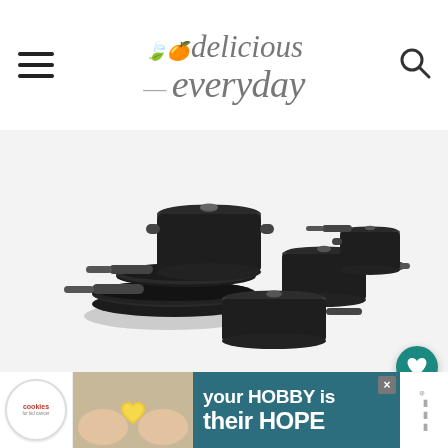delicious everyday - navigation header with hamburger menu and search icon
[Figure (photo): Set of black non-stick cookware including frying pans, saucepans, and pots with glass lids, on a white/light grey background]
[Figure (other): Advertisement banner: 'your HOBBY is their HOPE' with Cookies for Kids Cancer logo and a child holding a heart-shaped cookie]